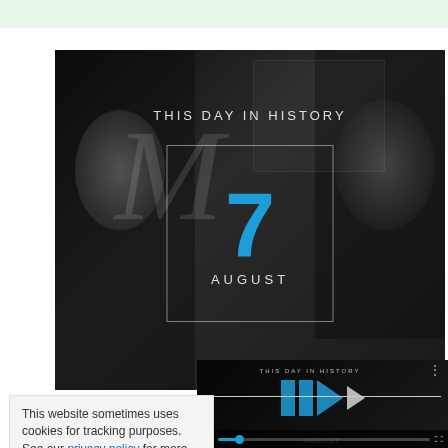[Figure (screenshot): Video thumbnail showing 'THIS DAY IN HISTORY' with the number 7 in blue and AUGUST below it, set against a dark background with faces of elderly people visible]
[Figure (screenshot): Smaller video player thumbnail also showing 'THIS DAY IN HISTORY' with a blue play icon, video controls including mute, progress bar, and fullscreen button]
This website sometimes uses cookies for tracking purposes. See our privacy policy for more details.